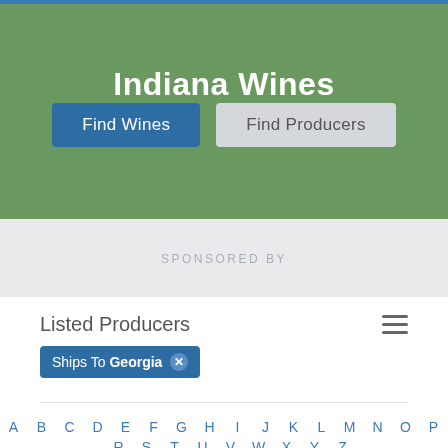Indiana Wines
Find Wines
Find Producers
SPONSORED BY
Listed Producers
Ships To Georgia ✕
# A B C D E F G H I J K L M N O P Q R S T U V W X Y Z